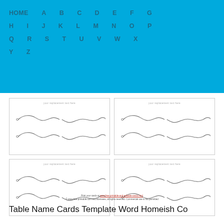HOME A B C D E F G H I J K L M N O P Q R S T U V W X Y Z
[Figure (illustration): Four name card templates with decorative swirl ornaments, arranged in a 2x2 grid. Each card has faint placeholder text at top and two rows of curled ornament dividers.]
Print your cards at www.free-printable-and-editable-cards.html © www.free-printable.com and licensees, all rights reserved. Commercial use is not permitted
Table Name Cards Template Word Homeish Co